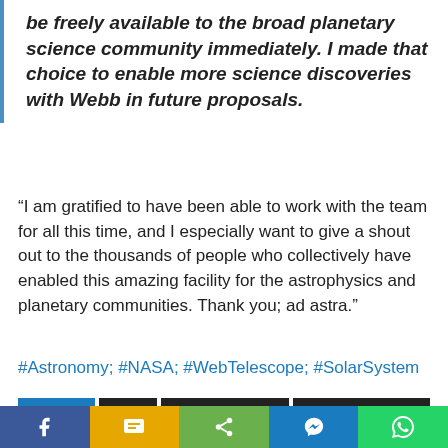be freely available to the broad planetary science community immediately. I made that choice to enable more science discoveries with Webb in future proposals.
“I am gratified to have been able to work with the team for all this time, and I especially want to give a shout out to the thousands of people who collectively have enabled this amazing facility for the astrophysics and planetary communities. Thank you; ad astra.”
#Astronomy; #NASA; #WebTelescope; #SolarSystem
TAGGED NASA SOLAR SYSTEM WEB TELESCOPE
[Figure (other): Social sharing bar with Facebook, SMS, Share, Messenger, and WhatsApp buttons]